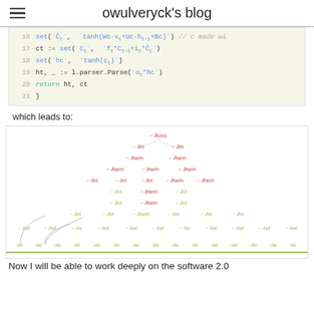owulveryck's blog
[Figure (screenshot): Code block showing lines 16-21 of Go-like code implementing an LSTM cell step, with line numbers in gray, keywords in teal, and a comment about 'c made wi']
which leads to:
[Figure (flowchart): A computational graph/tree diagram showing the unrolled LSTM computation graph with nodes and arrows, with small labeled nodes arranged in a hierarchical tree structure, and leaf nodes at the bottom showing inputs.]
Now I will be able to work deeply on the software 2.0